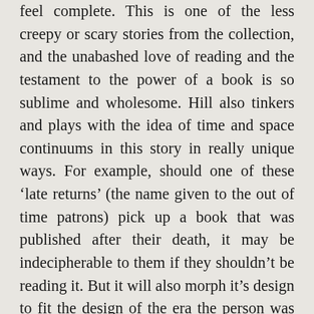feel complete. This is one of the less creepy or scary stories from the collection, and the unabashed love of reading and the testament to the power of a book is so sublime and wholesome. Hill also tinkers and plays with the idea of time and space continuums in this story in really unique ways. For example, should one of these ‘late returns’ (the name given to the out of time patrons) pick up a book that was published after their death, it may be indecipherable to them if they shouldn’t be reading it. But it will also morph it’s design to fit the design of the era the person was from. It’s little details like these that feel original and incredibly clever. On top of that, we get more emotional moments for some of the characters, from our protagonist processing his